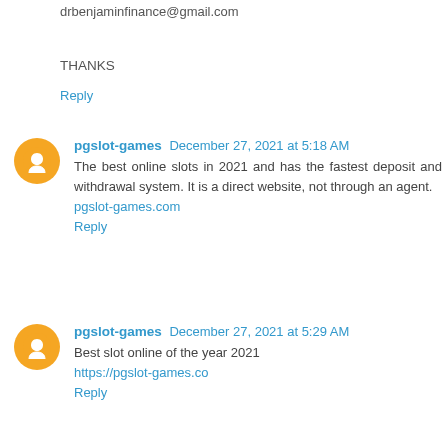drbenjaminfinance@gmail.com
THANKS
Reply
pgslot-games  December 27, 2021 at 5:18 AM
The best online slots in 2021 and has the fastest deposit and withdrawal system. It is a direct website, not through an agent.
pgslot-games.com
Reply
pgslot-games  December 27, 2021 at 5:29 AM
Best slot online of the year 2021
https://pgslot-games.co
Reply